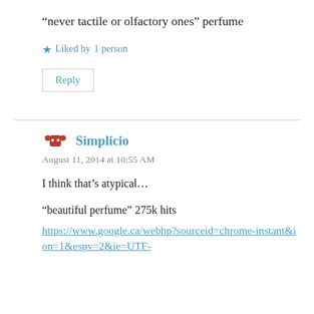“never tactile or olfactory ones” perfume
★ Liked by 1 person
Reply
Simplicio
August 11, 2014 at 10:55 AM
I think that’s atypical...
“beautiful perfume” 275k hits
https://www.google.ca/webhp?sourceid=chrome-instant&ion=1&espv=2&ie=UTF-